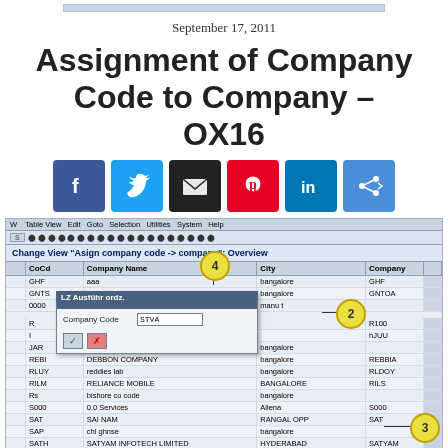September 17, 2011
Assignment of Company Code to Company – OX16
[Figure (infographic): Social media sharing icons: Facebook, Twitter, Email, Pinterest, LinkedIn, Share]
[Figure (screenshot): SAP screen showing Change View Assign company code to company Overview with a dialog box for Company Code entry showing value STVA, and callout numbers 2, 3, 4 pointing to various elements]